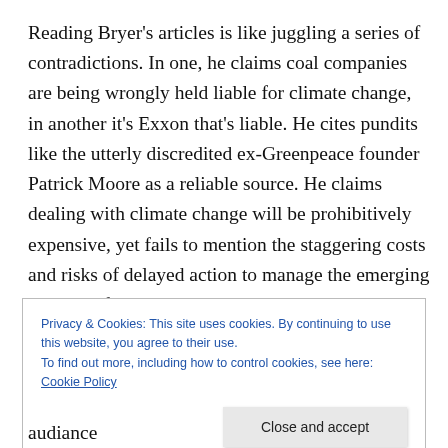Reading Bryer's articles is like juggling a series of contradictions. In one, he claims coal companies are being wrongly held liable for climate change, in another it's Exxon that's liable. He cites pundits like the utterly discredited ex-Greenpeace founder Patrick Moore as a reliable source. He claims dealing with climate change will be prohibitively expensive, yet fails to mention the staggering costs and risks of delayed action to manage the emerging impacts of global warming. Bryer unreservedly supports the oil and nuclear industries,
Privacy & Cookies: This site uses cookies. By continuing to use this website, you agree to their use.
To find out more, including how to control cookies, see here: Cookie Policy
audiance